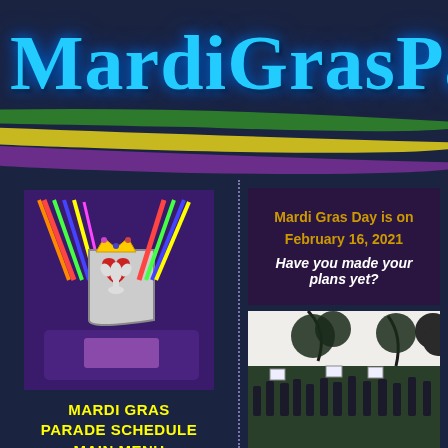MardiGrasPar
[Figure (illustration): Mardi Gras ribbon stripes in green, yellow/gold, and purple arching across the header]
[Figure (logo): Mardi Gras logo: a shield/crest with fleur-de-lis, crown, heart, and colorful festive decorations on a purple background]
MARDI GRAS PARADE SCHEDULE MAIN MENU
Home Page
Mardi Gras Schedule
Mardi Gras Day is on February 16, 2021 Have you made your plans yet?
[Figure (photo): Crowd at a Mardi Gras parade under large oak trees, people holding signs, festive atmosphere]